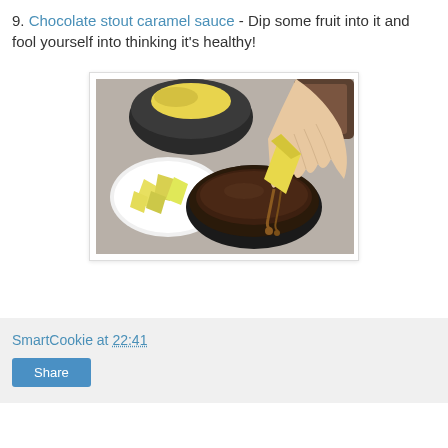9. Chocolate stout caramel sauce - Dip some fruit into it and fool yourself into thinking it's healthy!
[Figure (photo): A hand dipping a piece of fruit into a small dark bowl of chocolate caramel sauce, with a white plate of cut fruit and a dark bowl in the background on a grey linen surface.]
SmartCookie at 22:41 Share